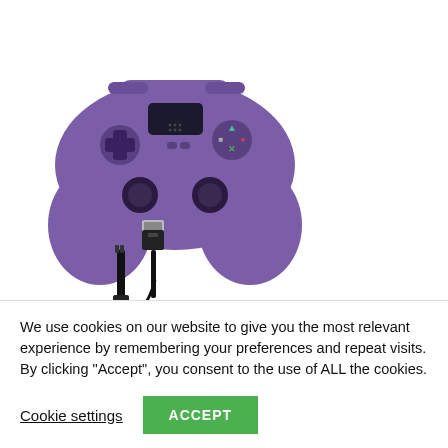[Figure (photo): Purple gaming controller (PS4-style) with a USB cable shown below it, on white background.]
red
white
orange
We use cookies on our website to give you the most relevant experience by remembering your preferences and repeat visits. By clicking “Accept”, you consent to the use of ALL the cookies.
Cookie settings
ACCEPT